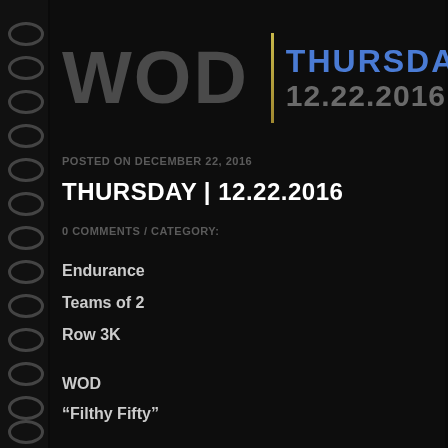WOD | THURSDAY 12.22.2016
POSTED ON DECEMBER 22, 2016
THURSDAY | 12.22.2016
0 COMMENTS / CATEGORY:
Endurance
Teams of 2
Row 3K
WOD
“Filthy Fifty”